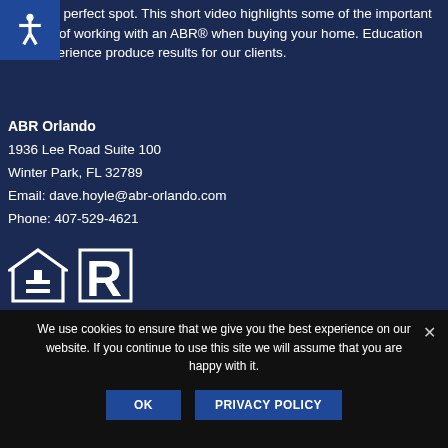find your perfect spot. This short video highlights some of the important benefits of working with an ABR® when buying your home. Education and Experience produce results for our clients.
ABR Orlando
1936 Lee Road Suite 100
Winter Park, FL 32789
Email: dave.hoyle@abr-orlando.com
Phone: 407-529-4621
[Figure (logo): Equal Housing Opportunity logo (house with equals sign) and Realtor R logo]
We use cookies to ensure that we give you the best experience on our website. If you continue to use this site we will assume that you are happy with it.